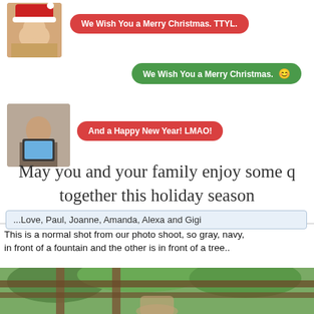[Figure (screenshot): Chat-style Christmas card screenshot showing text message bubbles with holiday greetings. Red bubble: 'We Wish You a Merry Christmas. TTYL', green bubble: 'We Wish You a Merry Christmas. 😊', red bubble: 'And a Happy New Year! LMAO!' with two avatar photos on the left side.]
May you and your family enjoy some quality time together this holiday season
...Love, Paul, Joanne, Amanda, Alexa and Gigi
This is a normal shot from our photo shoot, so gray, navy, in front of a fountain and the other is in front of a tree..
[Figure (photo): Outdoor photo showing a person under a wooden pergola structure with green foliage in the background.]